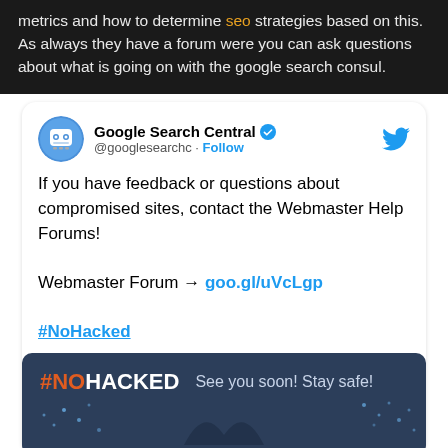metrics and how to determine seo strategies based on this. As always they have a forum were you can ask questions about what is going on with the google search consul.
[Figure (screenshot): Embedded tweet from @googlesearchc (Google Search Central) saying: 'If you have feedback or questions about compromised sites, contact the Webmaster Help Forums! Webmaster Forum → goo.gl/uVcLgp #NoHacked' with a #NOHACKED banner image preview.]